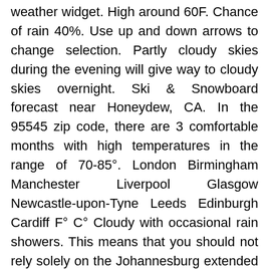weather widget. High around 60F. Chance of rain 40%. Use up and down arrows to change selection. Partly cloudy skies during the evening will give way to cloudy skies overnight. Ski & Snowboard forecast near Honeydew, CA. In the 95545 zip code, there are 3 comfortable months with high temperatures in the range of 70-85°. London Birmingham Manchester Liverpool Glasgow Newcastle-upon-Tyne Leeds Edinburgh Cardiff F° C° Cloudy with occasional rain showers. This means that you should not rely solely on the Johannesburg extended weather forecastfrom this web site but should use any and all available weather sources before making any decisions. Live weather reports from Honeydew (Gauteng) weather stations and weather warnings that include risk of thunder, high UV index and forecast gales. Winds NW at 10 to 20 mph. Rain early...then remaining cloudy with showers late. Forecast data from yr.no, delivered by the Meteorological institut and NRK. Low 48F. Know what's coming with AccuWeather's extended